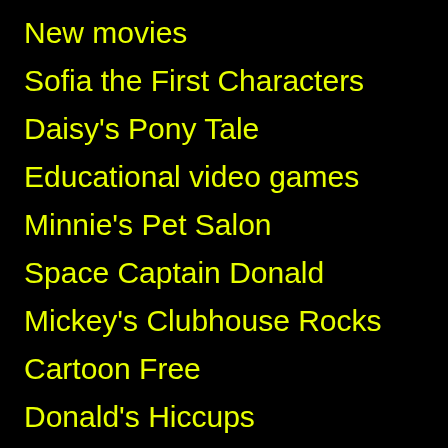New movies
Sofia the First Characters
Daisy's Pony Tale
Educational video games
Minnie's Pet Salon
Space Captain Donald
Mickey's Clubhouse Rocks
Cartoon Free
Donald's Hiccups